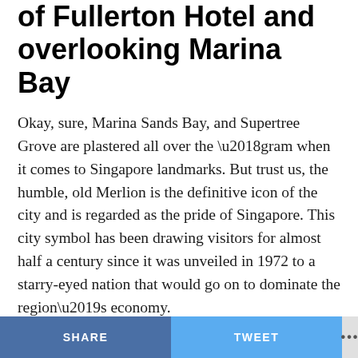of Fullerton Hotel and overlooking Marina Bay
Okay, sure, Marina Sands Bay, and Supertree Grove are plastered all over the ‘gram when it comes to Singapore landmarks. But trust us, the humble, old Merlion is the definitive icon of the city and is regarded as the pride of Singapore. This city symbol has been drawing visitors for almost half a century since it was unveiled in 1972 to a starry-eyed nation that would go on to dominate the region’s economy.
SHARE   TWEET   ...